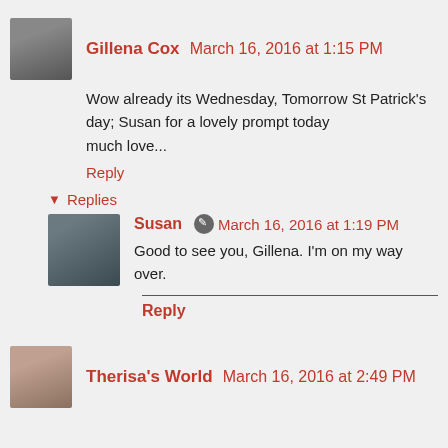[Figure (photo): Avatar of Gillena Cox, a woman, grayscale photo]
Gillena Cox March 16, 2016 at 1:15 PM
Wow already its Wednesday, Tomorrow St Patrick's day; Susan for a lovely prompt today
much love...
Reply
▼ Replies
[Figure (photo): Avatar of Susan, a woman with glasses, color photo]
Susan ✎ March 16, 2016 at 1:19 PM
Good to see you, Gillena. I'm on my way over.
Reply
[Figure (photo): Avatar of Therisa's World, partial face photo]
Therisa's World March 16, 2016 at 2:49 PM